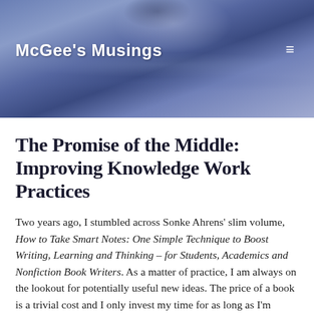[Figure (photo): Water ripple splash photo used as blog header banner, blue tones]
McGee's Musings
The Promise of the Middle: Improving Knowledge Work Practices
Two years ago, I stumbled across Sonke Ahrens' slim volume, How to Take Smart Notes: One Simple Technique to Boost Writing, Learning and Thinking – for Students, Academics and Nonfiction Book Writers. As a matter of practice, I am always on the lookout for potentially useful new ideas. The price of a book is a trivial cost and I only invest my time for as long as I'm learning something useful. I